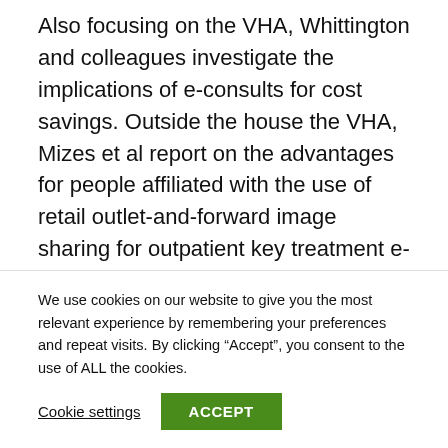Also focusing on the VHA, Whittington and colleagues investigate the implications of e-consults for cost savings. Outside the house the VHA, Mizes et al report on the advantages for people affiliated with the use of retail outlet-and-forward image sharing for outpatient key treatment e-consults with a dermatologist. Having a broader point of view of e-consults, an article by Mechanic et al focuses on the use of TeleConnect—digital connections concerning professionals and PCPs—to build opportunities to create
We use cookies on our website to give you the most relevant experience by remembering your preferences and repeat visits. By clicking “Accept”, you consent to the use of ALL the cookies.
Cookie settings
ACCEPT